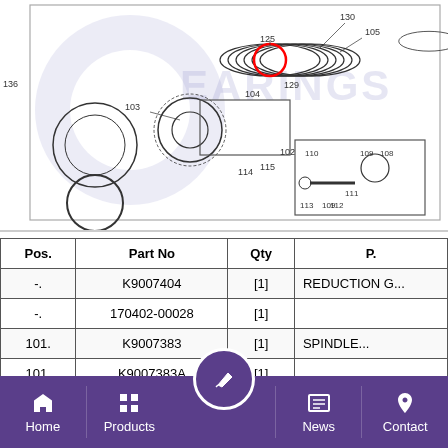[Figure (engineering-diagram): Exploded engineering diagram of a reduction gear / spindle assembly showing numbered parts (101-136) including rings, bearings, gears, and shafts. Part 125 is highlighted with a red circle.]
| Pos. | Part No | Qty | P... |
| --- | --- | --- | --- |
| -. | K9007404 | [1] | REDUCTION G... |
| -. | 170402-00028 | [1] |  |
| 101. | K9007383 | [1] | SPINDLE... |
| 101. | K9007383A | [1] |  |
Home   Products   [center button]   News   Contact